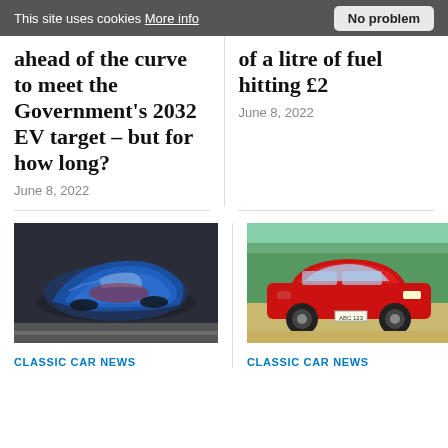This site uses cookies More info  No problem
ahead of the curve to meet the Government's 2032 EV target – but for how long?
June 8, 2022
of a litre of fuel hitting £2
June 8, 2022
[Figure (photo): Aerial view of a blue classic convertible sports car on a road]
CLASSIC CAR NEWS
[Figure (photo): Red sports car parked outdoors with green trees in background]
CLASSIC CAR NEWS